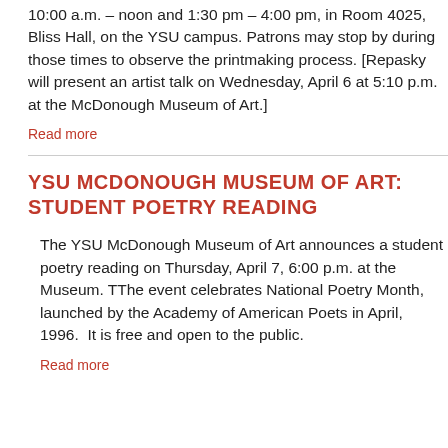Collaborative printing session each day from 10:00 a.m. – noon and 1:30 pm – 4:00 pm, in Room 4025, Bliss Hall, on the YSU campus. Patrons may stop by during those times to observe the printmaking process. [Repasky will present an artist talk on Wednesday, April 6 at 5:10 p.m. at the McDonough Museum of Art.]
Read more
YSU MCDONOUGH MUSEUM OF ART: STUDENT POETRY READING
The YSU McDonough Museum of Art announces a student poetry reading on Thursday, April 7, 6:00 p.m. at the Museum. TThe event celebrates National Poetry Month, launched by the Academy of American Poets in April, 1996.  It is free and open to the public.
Read more